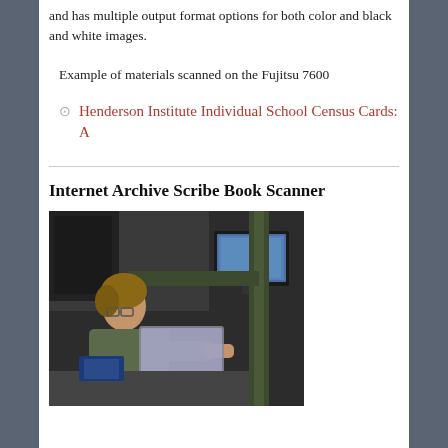and has multiple output format options for both color and black and white images.
Example of materials scanned on the Fujitsu 7600
Henderson Institute Individual School Census Cards: A
Internet Archive Scribe Book Scanner
[Figure (photo): A person operating an Internet Archive Scribe Book Scanner, a large dark scanning device with a monitor visible, in a dimly lit workspace.]